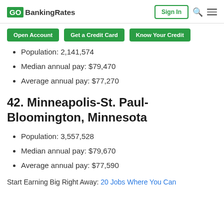GO BankingRates | Sign In
Open Account  Get a Credit Card  Know Your Credit
Population: 2,141,574
Median annual pay: $79,470
Average annual pay: $77,270
42. Minneapolis-St. Paul-Bloomington, Minnesota
Population: 3,557,528
Median annual pay: $79,670
Average annual pay: $77,590
Start Earning Big Right Away: 20 Jobs Where You Can